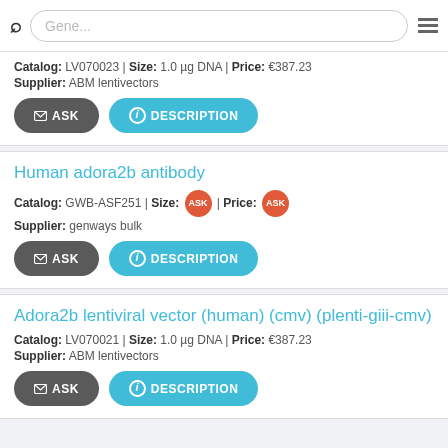Gene...
Catalog: LV070023 | Size: 1.0 µg DNA | Price: €387.23
Supplier: ABM lentivectors
Human adora2b antibody
Catalog: GWB-ASF251 | Size: ASK | Price: ASK
Supplier: genways bulk
Adora2b lentiviral vector (human) (cmv) (plenti-giii-cmv)
Catalog: LV070021 | Size: 1.0 µg DNA | Price: €387.23
Supplier: ABM lentivectors